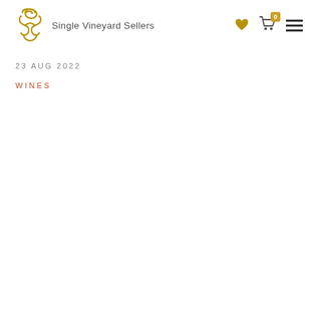Single Vineyard Sellers
23 AUG 2022
WINES